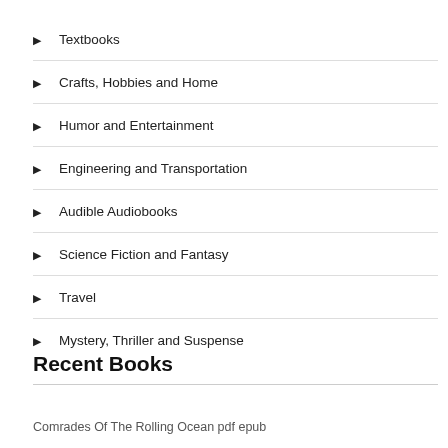Textbooks
Crafts, Hobbies and Home
Humor and Entertainment
Engineering and Transportation
Audible Audiobooks
Science Fiction and Fantasy
Travel
Mystery, Thriller and Suspense
Recent Books
Comrades Of The Rolling Ocean pdf epub